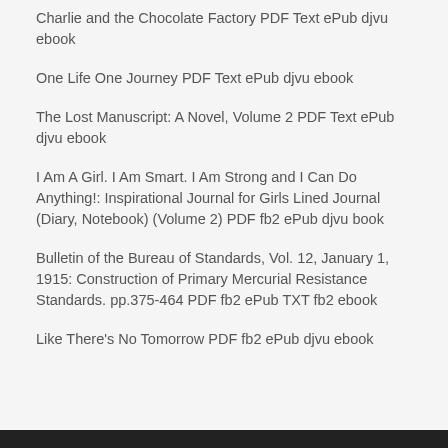Charlie and the Chocolate Factory PDF Text ePub djvu ebook
One Life One Journey PDF Text ePub djvu ebook
The Lost Manuscript: A Novel, Volume 2 PDF Text ePub djvu ebook
I Am A Girl. I Am Smart. I Am Strong and I Can Do Anything!: Inspirational Journal for Girls Lined Journal (Diary, Notebook) (Volume 2) PDF fb2 ePub djvu book
Bulletin of the Bureau of Standards, Vol. 12, January 1, 1915: Construction of Primary Mercurial Resistance Standards. pp.375-464 PDF fb2 ePub TXT fb2 ebook
Like There's No Tomorrow PDF fb2 ePub djvu ebook